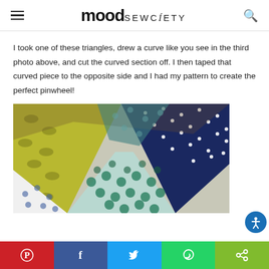mood SEWCIETY
I took one of these triangles, drew a curve like you see in the third photo above, and cut the curved section off. I then taped that curved piece to the opposite side and I had my pattern to create the perfect pinwheel!
[Figure (photo): Close-up photo of colorful patterned fabric pieces arranged in a pinwheel quilt pattern, featuring navy blue with white dots, yellow-green with diamond shapes, teal/green circle dots, and blue floral prints on white background.]